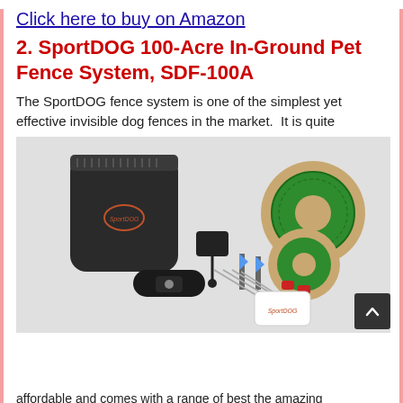Click here to buy on Amazon
2. SportDOG 100-Acre In-Ground Pet Fence System, SDF-100A
The SportDOG fence system is one of the simplest yet effective invisible dog fences in the market.  It is quite
[Figure (photo): Product photo of SportDOG SDF-100A In-Ground Pet Fence System showing the transmitter box, wire spool, collar, power adapter, flags, and accessories on a white background]
affordable and comes with a range of best the amazing